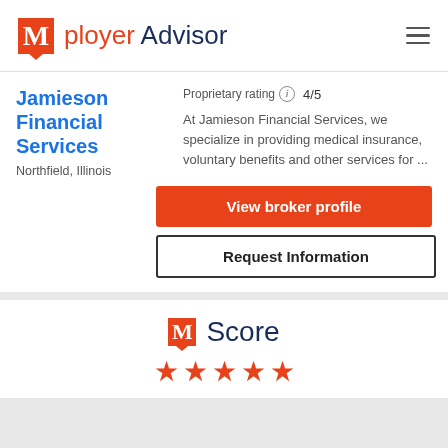Mployer Advisor
Proprietary rating ⓘ 4/5
Jamieson Financial Services
Northfield, Illinois
At Jamieson Financial Services, we specialize in providing medical insurance, voluntary benefits and other services for ...
View broker profile
Request Information
[Figure (logo): M Score logo with orange M icon and dark blue 'Score' text, followed by five orange stars]